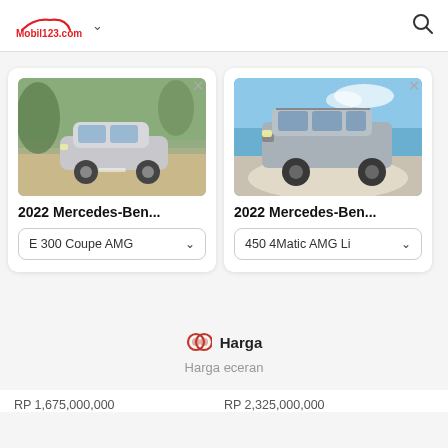Mobil123.com
[Figure (screenshot): Card showing 2022 Mercedes-Benz with E 300 Coupe AMG variant selector]
2022 Mercedes-Ben...
E 300 Coupe AMG
[Figure (screenshot): Card showing 2022 Mercedes-Benz SUV with 450 4Matic AMG Li variant selector]
2022 Mercedes-Ben...
450 4Matic AMG Li
Harga
Harga eceran
RP 1,675,000,000
RP 2,325,000,000